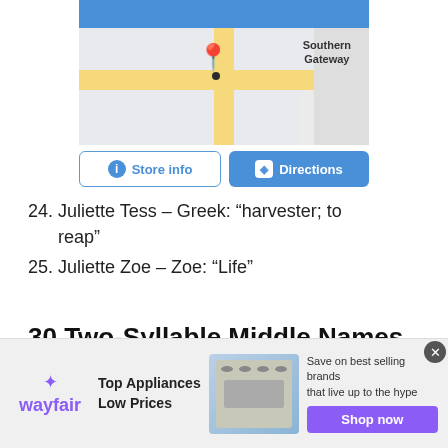[Figure (screenshot): Google Maps screenshot showing a location pin near 'Southern Gateway' area, with a blue header bar, road/map detail, and two buttons: 'Store info' and 'Directions']
24. Juliette Tess – Greek: “harvester; to reap”
25. Juliette Zoe – Zoe: “Life”
30 Two-Syllable Middle Names For Juliette
Below is a list of unique middle names for
[Figure (screenshot): Wayfair advertisement banner: 'Top Appliances Low Prices', image of a stove/range appliance, text 'Save on best selling brands that live up to the hype', purple 'Shop now' button]